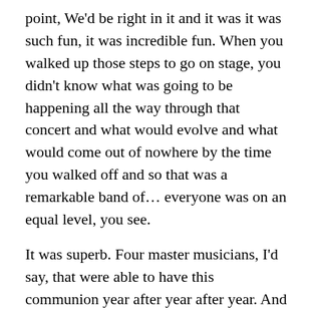point, We'd be right in it and it was it was such fun, it was incredible fun. When you walked up those steps to go on stage, you didn't know what was going to be happening all the way through that concert and what would evolve and what would come out of nowhere by the time you walked off and so that was a remarkable band of… everyone was on an equal level, you see.
It was superb. Four master musicians, I'd say, that were able to have this communion year after year after year. And so that's really why we could keep pushing the horizons even further. If there was a hill we were gonna go over it to see the next hill and go over that because we were so good that we owed it to ourselves to do that, to keep growing and make the music so interesting and challenging not just for us but for other people who heard it. Thanks.